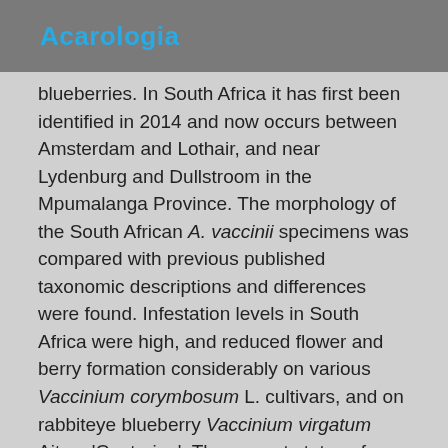Acarologia
blueberries. In South Africa it has first been identified in 2014 and now occurs between Amsterdam and Lothair, and near Lydenburg and Dullstroom in the Mpumalanga Province. The morphology of the South African A. vaccinii specimens was compared with previous published taxonomic descriptions and differences were found. Infestation levels in South Africa were high, and reduced flower and berry formation considerably on various Vaccinium corymbosum L. cultivars, and on rabbiteye blueberry Vaccinium virgatum Aiton. 'Centurion'. The current status of, symptoms, and cultivars infested by the mite in South African blueberry plantings are presented and discussed in the context of published information in North America. Acalitus vaccinii is a potential threat to cultivated blueberries in South